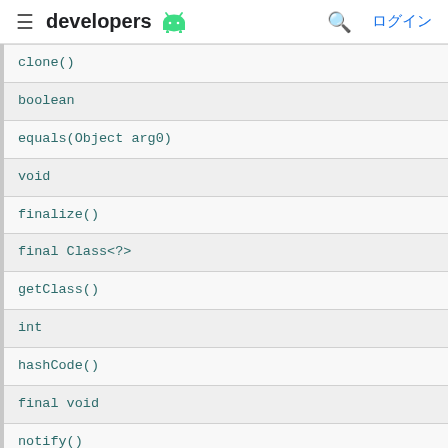developers [Android logo] ログイン
| clone() |
| boolean |
| equals(Object arg0) |
| void |
| finalize() |
| final Class<?> |
| getClass() |
| int |
| hashCode() |
| final void |
| notify() |
| final void |
| notifyAll() |